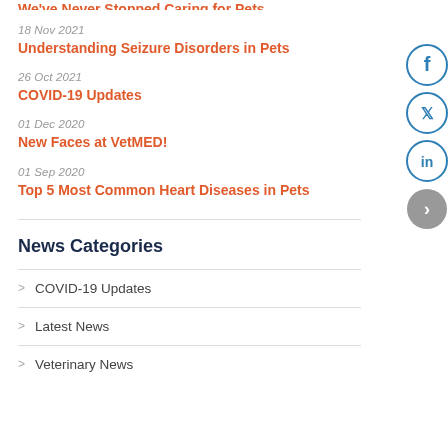18 Nov 2021
Understanding Seizure Disorders in Pets
26 Oct 2021
COVID-19 Updates
01 Dec 2020
New Faces at VetMED!
01 Sep 2020
Top 5 Most Common Heart Diseases in Pets
News Categories
COVID-19 Updates
Latest News
Veterinary News